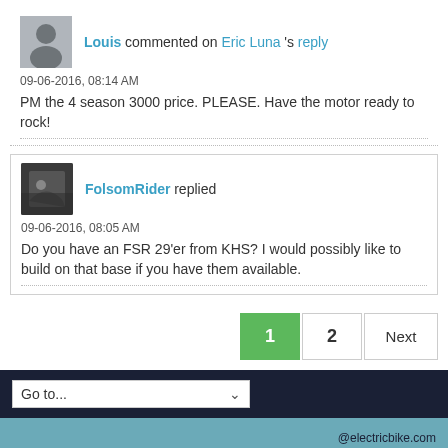Louis commented on Eric Luna's reply
09-06-2016, 08:14 AM
PM the 4 season 3000 price. PLEASE. Have the motor ready to rock!
FolsomRider replied
09-06-2016, 08:05 AM
Do you have an FSR 29'er from KHS? I would possibly like to build on that base if you have them available.
1 2 Next
Go to...
@electricbike.com
Powered by vBulletin Version 5.6.9
Copyright © 2022 MH Sub I, LLC dba vBulletin. All rights reserved.
All times are GMT-8. This page was generated at 1 minute ago.